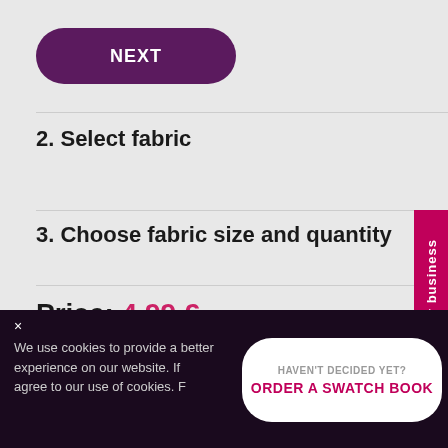NEXT
2. Select fabric
3. Choose fabric size and quantity
Price: 4.99 €
Total net price: 4.06 €
For business
× We use cookies to provide a better experience on our website. If you agree to our use of cookies. F...
HAVEN'T DECIDED YET? ORDER A SWATCH BOOK